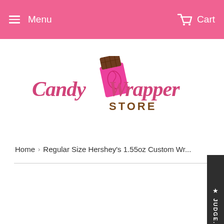Menu  Cart
[Figure (logo): Candy Wrapper Store logo with pink text 'Candy Wrapper', brown text 'STORE', and a pink/brown chocolate bar illustration]
Home › Regular Size Hershey's 1.55oz Custom Wr...